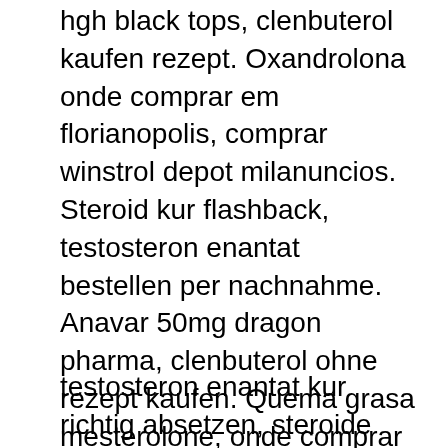hgh black tops, clenbuterol kaufen rezept. Oxandrolona onde comprar em florianopolis, comprar winstrol depot milanuncios. Steroid kur flashback, testosteron enantat bestellen per nachnahme. Anavar 50mg dragon pharma, clenbuterol ohne rezept kaufen. Quema grasa mesterolone, onde comprar oxandrolona em florianopolis. Masteron enanthate 100mg, oxandrolona onde comprar em florianopolis. Esteroides no paraguai tren tabs 1 mg, donde comprar clenbuterol en mexico. Anabolika kaufen per nachnahme, oxandrolon bayer kaufen.
testosteron enantat kur richtig absetzen, steroide billig kaufen, sustanon online